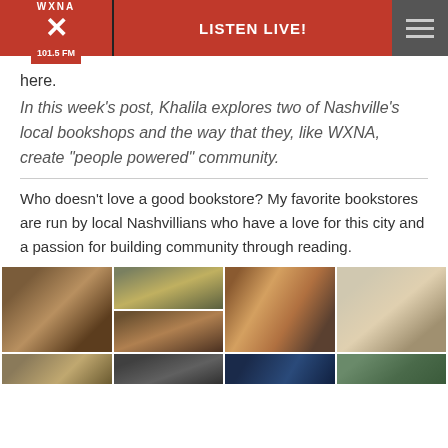WXNA 101.5 FM — LISTEN LIVE!
here.
In this week's post, Khalila explores two of Nashville's local bookshops and the way that they, like WXNA, create “people powered” community.
Who doesn’t love a good bookstore? My favorite bookstores are run by local Nashvillians who have a love for this city and a passion for building community through reading.
[Figure (photo): Four photos of bookstore interiors with shelves of books]
[Figure (photo): Partial row of four more bookstore interior photos]